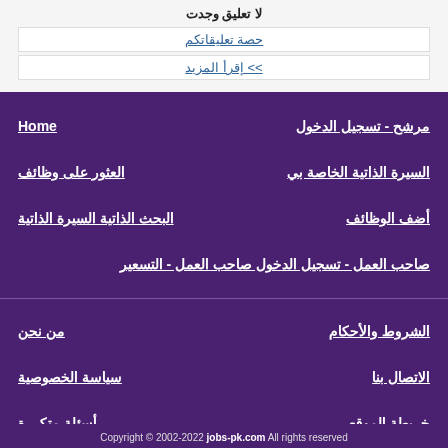لا تعليق وجدت
حصة تعليقاتكم
>> إقرأ المزيد
مرشح - تسجيل الدخول
Home
السيرة الذاتية الخاصة بي
العثور على وظائف
أضف الوظائف
البحث الذاتية السيرة الذاتية
صاحب العمل - تسجيل الدخول صاحب العمل - التسعير
الشروط والأحكام
من نحن
الاتصال بنا
سياسة الخصوصية
خريطة الموقع
أسئلة متكررة
Copyright © 2002-2022 jobs-pk.com All rights reserved